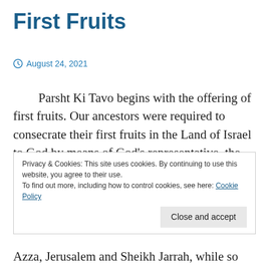First Fruits
August 24, 2021
Parsht Ki Tavo begins with the offering of first fruits. Our ancestors were required to consecrate their first fruits in the Land of Israel to God by means of God’s representative, the Levites. This taught them two lessons: that the fruit and the trees on which they grow does not belong to them but rather to God and that they
Privacy & Cookies: This site uses cookies. By continuing to use this website, you agree to their use.
To find out more, including how to control cookies, see here: Cookie Policy
Close and accept
Azza, Jerusalem and Sheikh Jarrah, while so